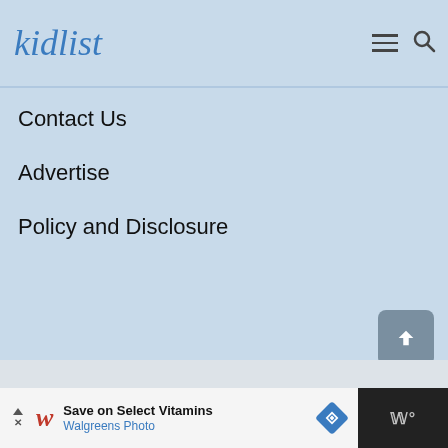kidlist
Contact Us
Advertise
Policy and Disclosure
© 2022 Kidlist, LLC
Website maintained by Brett Widmann.
Save on Select Vitamins Walgreens Photo